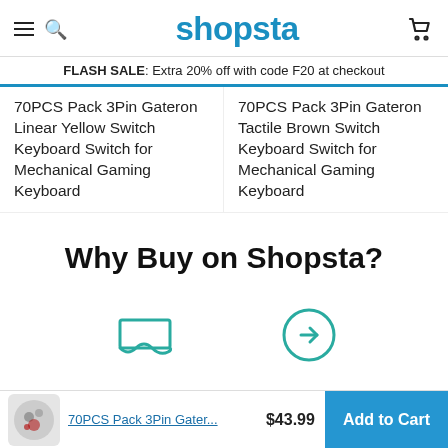shopsta
FLASH SALE: Extra 20% off with code F20 at checkout
70PCS Pack 3Pin Gateron Linear Yellow Switch Keyboard Switch for Mechanical Gaming Keyboard
70PCS Pack 3Pin Gateron Tactile Brown Switch Keyboard Switch for Mechanical Gaming Keyboard
Why Buy on Shopsta?
[Figure (illustration): Store/shop icon (wavy bottom outline representing a storefront awning) in teal/green outline style]
[Figure (illustration): Circle with right arrow icon in teal/green outline style]
70PCS Pack 3Pin Gater... $43.99 Add to Cart